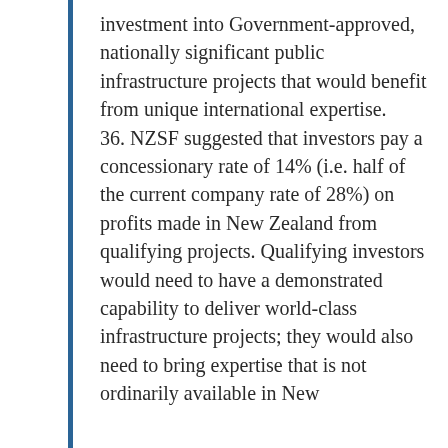investment into Government-approved, nationally significant public infrastructure projects that would benefit from unique international expertise. 36. NZSF suggested that investors pay a concessionary rate of 14% (i.e. half of the current company rate of 28%) on profits made in New Zealand from qualifying projects. Qualifying investors would need to have a demonstrated capability to deliver world-class infrastructure projects; they would also need to bring expertise that is not ordinarily available in New